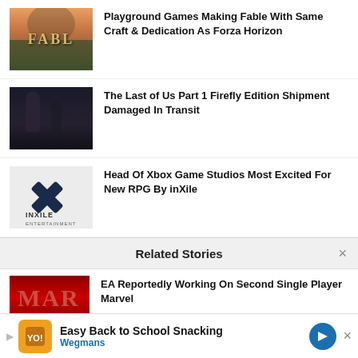[Figure (illustration): Fable game cover art with golden text 'FABLE' on a landscape background]
Playground Games Making Fable With Same Craft & Dedication As Forza Horizon
[Figure (illustration): The Last of Us Part 1 dark promotional image with two characters]
The Last of Us Part 1 Firefly Edition Shipment Damaged In Transit
[Figure (illustration): inXile Entertainment logo on light gray background]
Head Of Xbox Game Studios Most Excited For New RPG By inXile
Related Stories
[Figure (illustration): EA Marvel game dark red cover thumbnail]
EA Reportedly Working On Second Single Player Marvel
Easy Back to School Snacking Wegmans